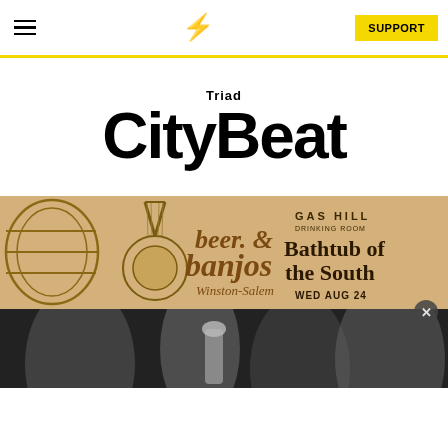Navigation bar with hamburger menu, lightning bolt logo, and SUPPORT button
Triad CityBeat
[Figure (illustration): Beer & Banjos advertisement banner featuring banjo and barrel illustrations on a tan/sandy background. Text reads 'beer. & banjos Winston-Salem' on left and 'GAS HILL DRINKING ROOM Bathtub of the South WED AUG 24' on the right.]
[Figure (photo): Black and white photograph at the bottom, appears to show people or performers, partially obscured by a white overlay at the bottom.]